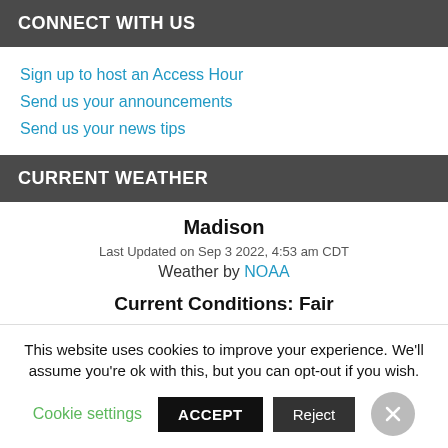CONNECT WITH US
Sign up to host an Access Hour
Send us your announcements
Send us your news tips
CURRENT WEATHER
Madison
Last Updated on Sep 3 2022, 4:53 am CDT
Weather by NOAA
Current Conditions: Fair
Temp: 71°F
This website uses cookies to improve your experience. We'll assume you're ok with this, but you can opt-out if you wish.
Cookie settings   ACCEPT   Reject